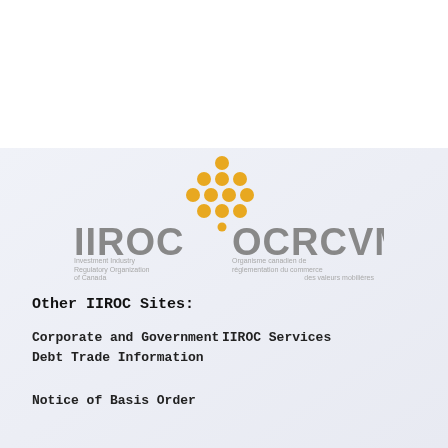[Figure (logo): IIROC OCRCVM bilingual logo with gold dot pattern above the text. Left side: IIROC with subtitle 'Investment Industry Regulatory Organization of Canada'. Right side: OCRCVM with subtitle 'Organisme canadien de réglementation du commerce des valeurs mobilières'.]
Other IIROC Sites:
Corporate and Government Debt Trade Information
IIROC Services
Notice of Basis Order